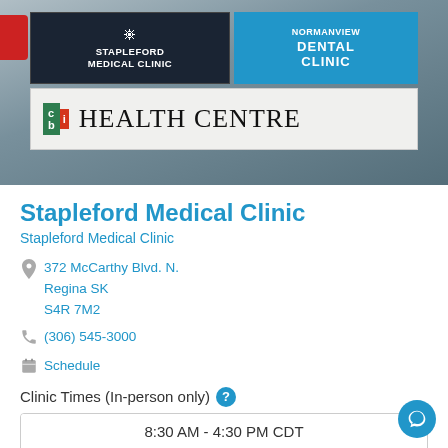[Figure (photo): Exterior building sign photo showing: Stapleford Medical Clinic (dark sign), Normanview Dental Clinic (blue sign), and CBI Health Centre (white sign below).]
Stapleford Medical Clinic
Stapleford Medical Clinic
372 McCarthy Blvd. N.
Regina SK
S4R 7M2
(306) 545-3000
Schedule
Clinic Times (In-person only)
| 8:30 AM - 4:30 PM CDT |
| You must register in person for this clinic. |